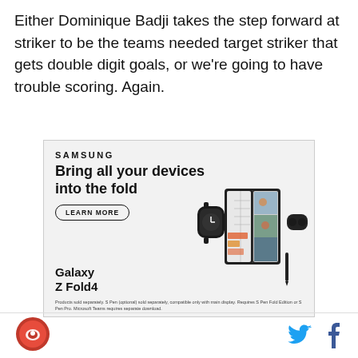Either Dominique Badji takes the step forward at striker to be the teams needed target striker that gets double digit goals, or we're going to have trouble scoring. Again.
[Figure (infographic): Samsung advertisement for Galaxy Z Fold4. Shows Samsung logo, headline 'Bring all your devices into the fold', a 'LEARN MORE' button, product images of Galaxy Z Fold4 with a smartwatch, foldable tablet device showing a video call, and wireless earbuds. Fine print about products sold separately.]
[Figure (logo): Circular red and white site logo in footer]
[Figure (infographic): Twitter bird icon in blue and Facebook 'f' icon in dark color in footer]